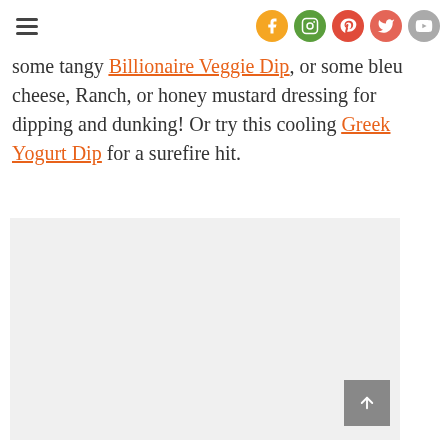Navigation bar with hamburger menu and social icons (Facebook, Instagram, Pinterest, Twitter, YouTube)
some tangy Billionaire Veggie Dip, or some bleu cheese, Ranch, or honey mustard dressing for dipping and dunking! Or try this cooling Greek Yogurt Dip for a surefire hit.
[Figure (photo): Image placeholder area (light gray background) for a food photo]
[Figure (infographic): Floating action buttons on right side: scroll-up chevron button with vote count 78, heart/favorite button, and green search button]